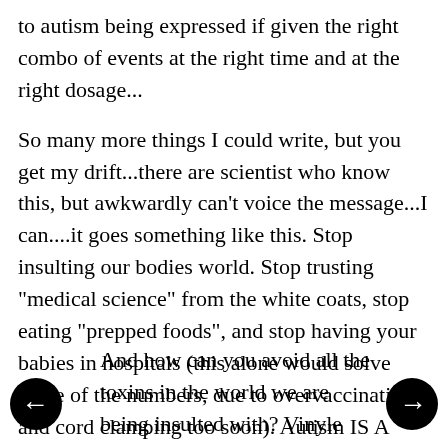to autism being expressed if given the right combo of events at the right time and at the right dosage...
So many more things I could write, but you get my drift...there are scientist who know this, but awkwardly can't voice the message...I can....it goes something like this. Stop insulting our bodies world. Stop trusting "medical science" from the white coats, stop eating "prepped foods", and stop having your babies in hospitals (this alone would solve some of the numbers, due to overvaccinating and cord clamping too soon). Autism IS A TRUST DISEASE. We trust people way too damn much. IMHO.
And how can you avoid all the toxins in the world we are being insulted with? Vinyle